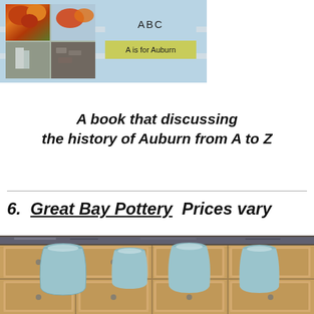[Figure (photo): Book cover showing autumn foliage photos on left and text 'ABC' and 'A is for Auburn' on right with light blue and yellow-green stripe background]
A book that discussing the history of Auburn from A to Z
6.  Great Bay Pottery  Prices vary
[Figure (photo): Photo of ceramic pottery vases and vessels displayed on a wooden cabinet/countertop. Vases are blue-grey/teal colored. Background shows wooden kitchen cabinet drawers.]